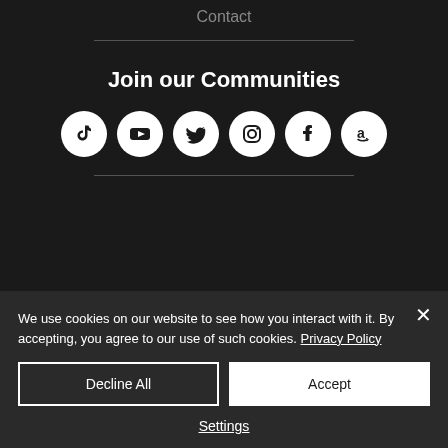Contact
Join our Communities
[Figure (illustration): Six social media icons in white circles: TikTok, YouTube, Twitter, Instagram, Facebook, Amazon]
We use cookies on our website to see how you interact with it. By accepting, you agree to our use of such cookies. Privacy Policy
Decline All
Accept
Settings